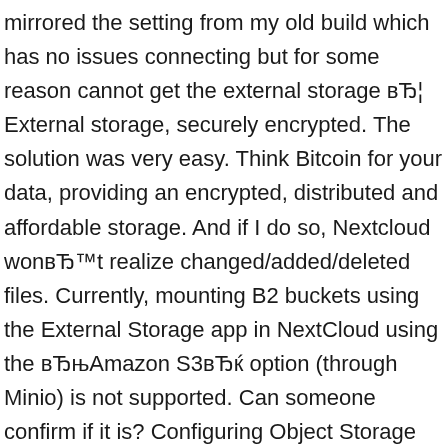mirrored the setting from my old build which has no issues connecting but for some reason cannot get the external storage вЂ¦ External storage, securely encrypted. The solution was very easy. Think Bitcoin for your data, providing an encrypted, distributed and affordable storage. And if I do so, Nextcloud wonвЂ™t realize changed/added/deleted files. Currently, mounting B2 buckets using the External Storage app in NextCloud using the вЂњAmazon S3вЂќ option (through Minio) is not supported. Can someone confirm if it is? Configuring Object Storage as External Storage in Nextcloud. The kludge of running the file:scan command is the only possible way and itвЂ™s not a good one either. Steps to reproduce Install the latest nextcloud. If i try to mountit with the External Storage App i am not able to do this. Use